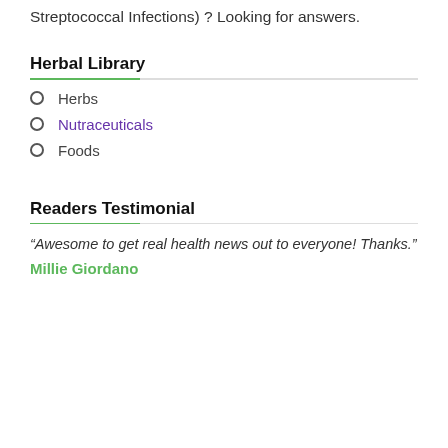Streptococcal Infections) ? Looking for answers.
Herbal Library
Herbs
Nutraceuticals
Foods
Readers Testimonial
“Awesome to get real health news out to everyone! Thanks.”
Millie Giordano